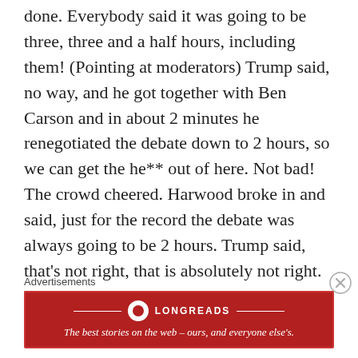done.  Everybody said it was going to be three, three and a half hours, including them! (Pointing at moderators)  Trump said, no way, and he got together with Ben Carson and in about 2 minutes he renegotiated the debate down to 2 hours, so we can get the he** out of here.  Not bad!  The crowd cheered.  Harwood broke in and said, just for the record the debate was always going to be 2 hours.  Trump said, that's not right, that is absolutely not right.  You know that, that is not right.
Advertisements
[Figure (other): Longreads advertisement banner in red with logo and tagline: The best stories on the web — ours, and everyone else's.]